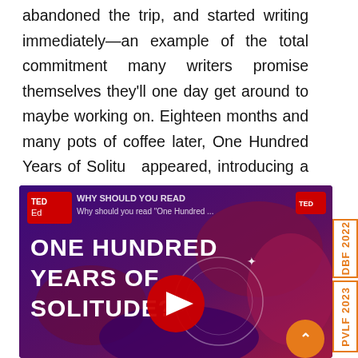abandoned the trip, and started writing immediately—an example of the total commitment many writers promise themselves they'll one day get around to maybe working on. Eighteen months and many pots of coffee later, One Hundred Years of Solitude appeared, introducing a worldwide readership Marquez, magical realism, and Latin American literature, politics, and history.
[Figure (screenshot): TED-Ed YouTube video thumbnail: 'Why should you read One Hundred Years of Solitude?' with large white text 'ONE HUNDRED YEARS OF SOLITUDE?' on a purple/pink illustrated background and a red YouTube play button in the center. An orange scroll-up button appears in the bottom right.]